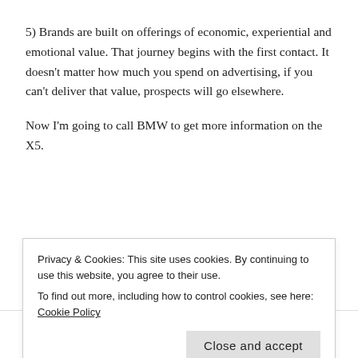5) Brands are built on offerings of economic, experiential and emotional value. That journey begins with the first contact. It doesn't matter how much you spend on advertising, if you can't deliver that value, prospects will go elsewhere.
Now I'm going to call BMW to get more information on the X5.
CATEGORIES  ADVERTISING,  AWARENESS,  BILLBOARDS,  BRANDING,  LUXURY BRANDING,  OUTDOOR,  RETENTION
Privacy & Cookies: This site uses cookies. By continuing to use this website, you agree to their use. To find out more, including how to control cookies, see here: Cookie Policy
Close and accept